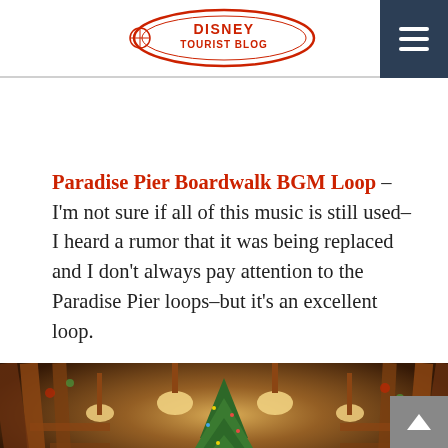DISNEY TOURIST BLOG
Paradise Pier Boardwalk BGM Loop – I'm not sure if all of this music is still used–I heard a rumor that it was being replaced and I don't always pay attention to the Paradise Pier loops–but it's an excellent loop.
[Figure (photo): Wide-angle interior panorama of a large lodge-style Disney resort hotel lobby with warm wooden beams, pendant lights, a decorated Christmas tree in the center, and multiple floors visible. Below that a dimmer outdoor or dining area scene.]